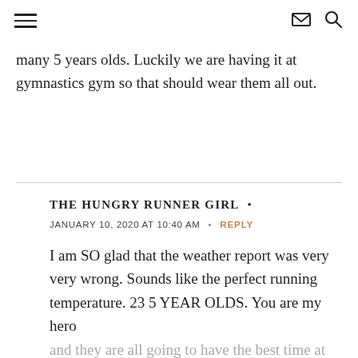≡  ✉ 🔍
many 5 years olds. Luckily we are having it at gymnastics gym so that should wear them all out.
THE HUNGRY RUNNER GIRL •
JANUARY 10, 2020 AT 10:40 AM  •  REPLY
I am SO glad that the weather report was very very wrong. Sounds like the perfect running temperature. 23 5 YEAR OLDS. You are my hero
and they are all going to have the best time at the gymnastics gym. Good luck (and how sweet